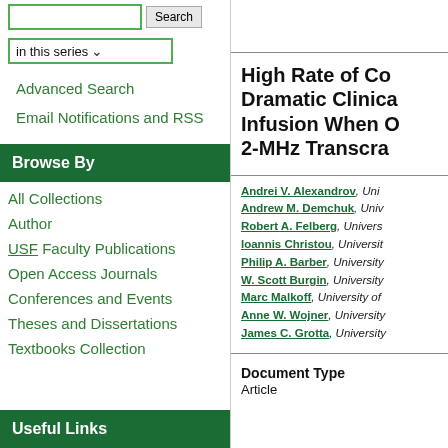in this series
Advanced Search
Email Notifications and RSS
Browse By
All Collections
Author
USF Faculty Publications
Open Access Journals
Conferences and Events
Theses and Dissertations
Textbooks Collection
Useful Links
High Rate of Co... Dramatic Clinica... Infusion When O... 2-MHz Transcra...
Andrei V. Alexandrov, Uni... Andrew M. Demchuk, Univ... Robert A. Felberg, Univers... Ioannis Christou, Universit... Philip A. Barber, University... W. Scott Burgin, University... Marc Malkoff, University of... Anne W. Wojner, University... James C. Grotta, University
Document Type
Article